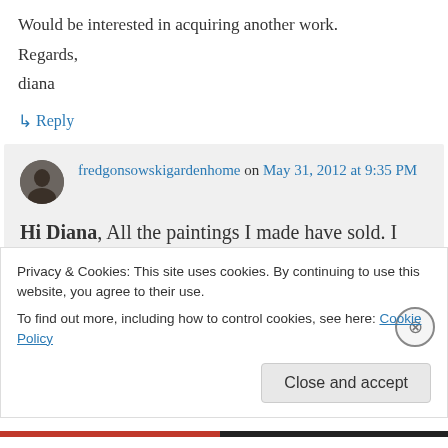Would be interested in acquiring another work.
Regards,
diana
↳ Reply
fredgonsowskigardenhome on May 31, 2012 at 9:35 PM
Hi Diana, All the paintings I made have sold. I haven't made a Big Eyed one since
Privacy & Cookies: This site uses cookies. By continuing to use this website, you agree to their use.
To find out more, including how to control cookies, see here: Cookie Policy
Close and accept